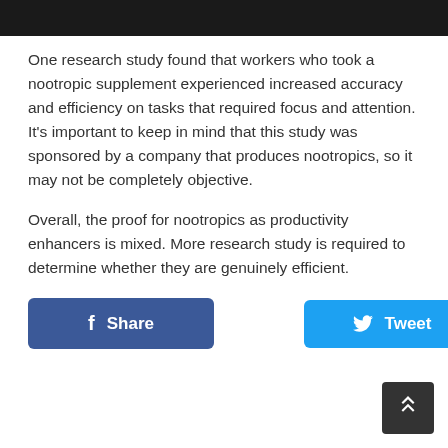[Figure (photo): Dark/black image bar at the top of the page]
One research study found that workers who took a nootropic supplement experienced increased accuracy and efficiency on tasks that required focus and attention. It's important to keep in mind that this study was sponsored by a company that produces nootropics, so it may not be completely objective.
Overall, the proof for nootropics as productivity enhancers is mixed. More research study is required to determine whether they are genuinely efficient.